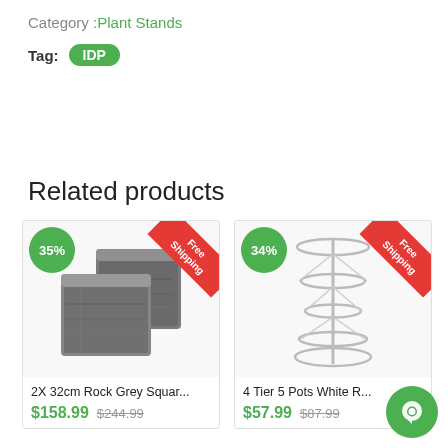Category :Plant Stands
Tag: IDP
Related products
[Figure (photo): Product card: Two square rock-grey planters with 35% discount badge and Free Shipping ribbon. Product name: 2X 32cm Rock Grey Squar... Sale price: $158.99, Original price: $244.99]
[Figure (photo): Product card: White 4-tier 5-pot plant stand with 34% discount badge and Free Shipping ribbon. Product name: 4 Tier 5 Pots White R... Sale price: $57.99, Original price: $87.99]